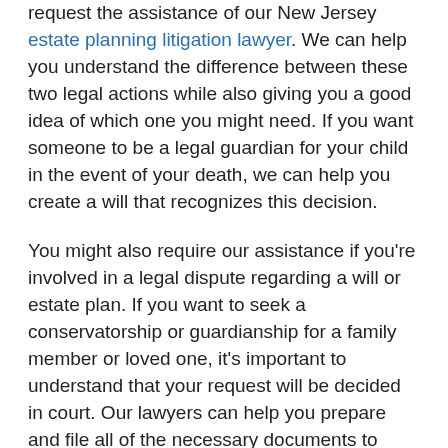request the assistance of our New Jersey estate planning litigation lawyer. We can help you understand the difference between these two legal actions while also giving you a good idea of which one you might need. If you want someone to be a legal guardian for your child in the event of your death, we can help you create a will that recognizes this decision.
You might also require our assistance if you're involved in a legal dispute regarding a will or estate plan. If you want to seek a conservatorship or guardianship for a family member or loved one, it's important to understand that your request will be decided in court. Our lawyers can help you prepare and file all of the necessary documents to have a guardianship or conservatorship appointed.
If you're thinking about taking legal action to appoint a conservator or guardian for your loved one, call our